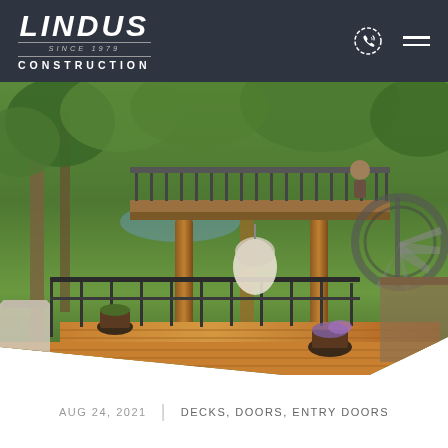LINDUS SINCE 1979 CONSTRUCTION
[Figure (photo): Outdoor deck with elevated platform, wooden pergola posts, spiral staircase, metal railings, hanging egg chair, and potted plants surrounded by trees]
AUG 24, 2021  |  DECKS, DOORS, ENTRY DOORS